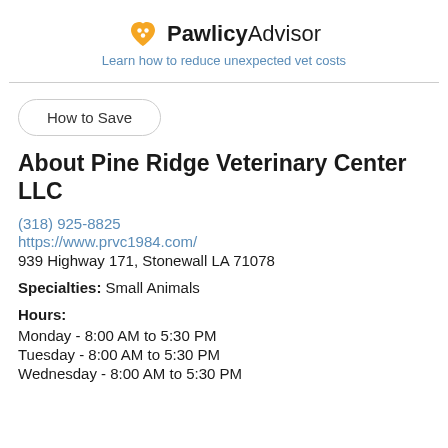PawlicyAdvisor — Learn how to reduce unexpected vet costs
How to Save
About Pine Ridge Veterinary Center LLC
(318) 925-8825
https://www.prvc1984.com/
939 Highway 171, Stonewall LA 71078
Specialties: Small Animals
Hours:
Monday - 8:00 AM to 5:30 PM
Tuesday - 8:00 AM to 5:30 PM
Wednesday - 8:00 AM to 5:30 PM